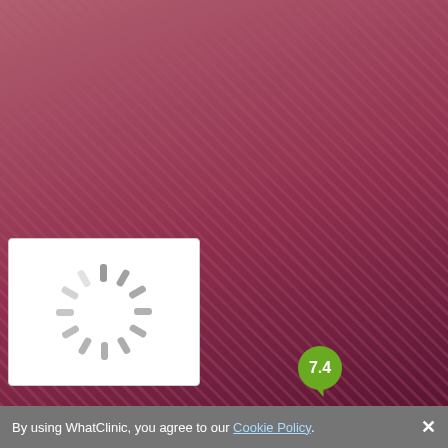[Figure (photo): Partial photo of a person wearing a patterned pink/burgundy shirt or jacket]
Enquire
more
Teosyal® Filler    from £345
11 more treatments >
Escentics Dental and Implant Centre
[Figure (photo): Loading spinner / image loading indicator]
299 Long Lane , Hillingdon, North Hillingdon, Middlesex,
5.0 ★★★★★
from 1 verified review
ServiceScore™ Very Good from 41 users  7.4
By using WhatClinic, you agree to our Cookie Policy.  ×